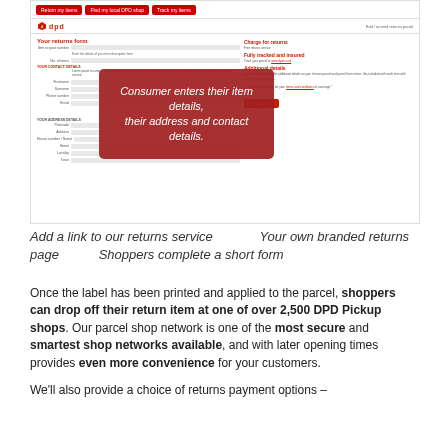[Figure (screenshot): DPD returns portal screenshot showing a returns form with fields for item details, address, contact details, and a red overlay popup saying 'Consumer enters their item details, their address and contact details.']
Add a link to our returns service   Your own branded returns page   Shoppers complete a short form
Once the label has been printed and applied to the parcel, shoppers can drop off their return item at one of over 2,500 DPD Pickup shops. Our parcel shop network is one of the most secure and smartest shop networks available, and with later opening times provides even more convenience for your customers.
We'll also provide a choice of returns payment options –